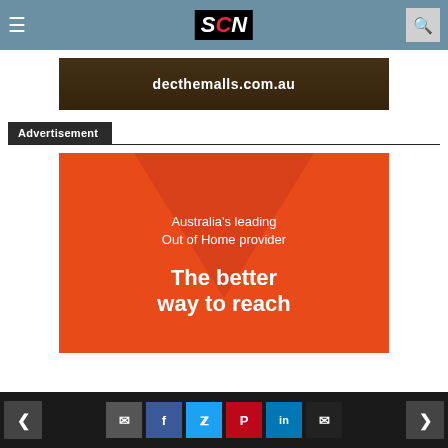SCN navigation bar with hamburger menu, SCN logo, and search icon
[Figure (photo): Banner advertisement showing a shopping mall interior with text 'decthemalls.com.au']
Advertisement
[Figure (infographic): Orange advertisement with text: "Australia's leading Out of Home provider" and "The better way to reach"]
Social sharing bar with back arrow, comment, Facebook, Twitter, Pinterest, LinkedIn, email buttons, and forward arrow